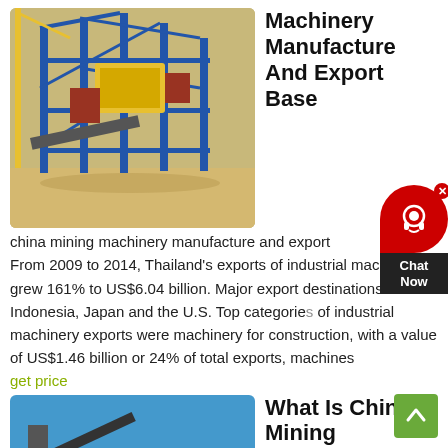[Figure (photo): Industrial mining machinery / construction equipment with blue steel framework and yellow machinery components, on sandy ground with crane visible.]
Machinery Manufacture And Export Base
china mining machinery manufacture and export From 2009 to 2014, Thailand’s exports of industrial machinery grew 161% to US$6.04 billion. Major export destinations were Indonesia, Japan and the U.S. Top categories of industrial machinery exports were machinery for construction, with a value of US$1.46 billion or 24% of total exports, machines
get price
[Figure (photo): Mining aggregate processing facility with conveyor belts and crusher equipment on a desert/red dirt site under blue sky.]
What Is China Mining Machinery Manufacturing Base
May 16, 2021 ·